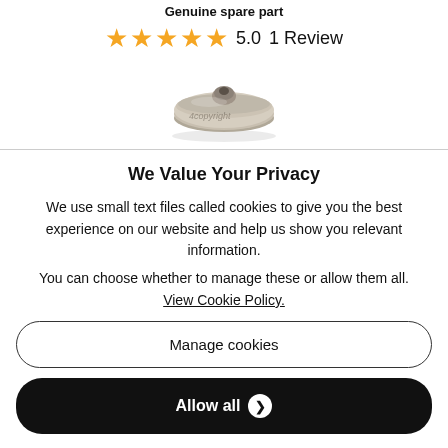Genuine spare part
[Figure (other): Five orange star rating icons showing 5.0 with 1 Review text]
[Figure (photo): Product image of a small metallic spare part (round disc with central hole), watermarked with '4copyright']
We Value Your Privacy
We use small text files called cookies to give you the best experience on our website and help us show you relevant information.
You can choose whether to manage these or allow them all. View Cookie Policy.
Manage cookies
Allow all